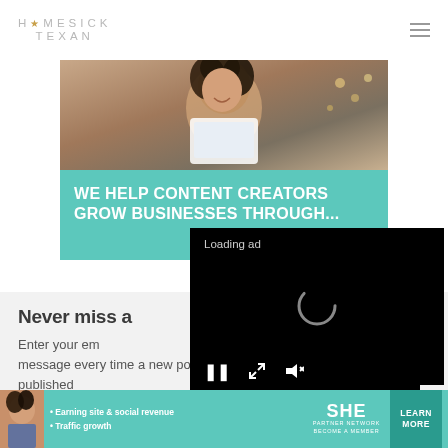HOMESICK TEXAN
[Figure (photo): Website screenshot showing a woman smiling and using a tablet, with teal banner reading WE HELP CONTENT CREATORS GROW BUSINESSES THROUGH...]
Never miss a
Enter your em message every time a new post is published
[Figure (screenshot): Video ad overlay with black background, Loading ad text, spinner, and media controls (pause, expand, mute)]
[Figure (infographic): Bottom banner ad for SHE Partner Network with text: Earning site & social revenue, Traffic growth, LEARN MORE button]